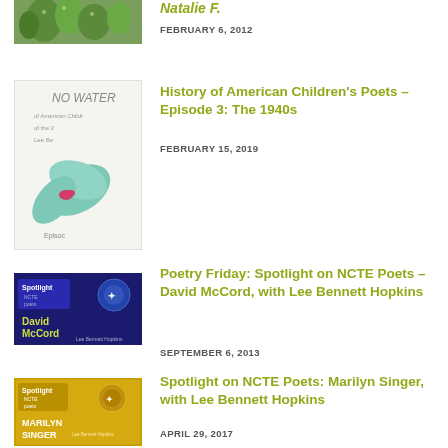[Figure (photo): Thumbnail image of cacti/succulents (green plants, top-cropped)]
Natalie F.
FEBRUARY 6, 2012
[Figure (photo): Book cover thumbnail: 'No Water' – American Children's illustration with teal leaf and bird on white background]
History of American Children's Poets – Episode 3: The 1940s
FEBRUARY 15, 2019
[Figure (photo): Blue Spotlight on NCTE Poets thumbnail featuring David McCord with Lee Bennett Hopkins]
Poetry Friday: Spotlight on NCTE Poets – David McCord, with Lee Bennett Hopkins
SEPTEMBER 6, 2013
[Figure (photo): Gold Spotlight on NCTE Poets thumbnail featuring Marilyn Singer with Lee Bennett Hopkins]
Spotlight on NCTE Poets: Marilyn Singer, with Lee Bennett Hopkins
APRIL 29, 2017